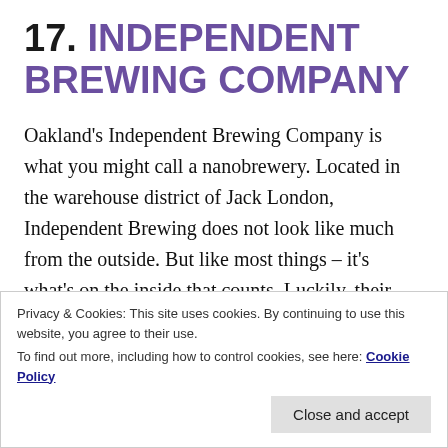17. INDEPENDENT BREWING COMPANY
Oakland's Independent Brewing Company is what you might call a nanobrewery. Located in the warehouse district of Jack London, Independent Brewing does not look like much from the outside. But like most things – it's what's on the inside that counts. Luckily, their beers do not disappoint. If you can, take a tour of the place and try some favorites such as their Kolchy-Kolch or the Pipe
Privacy & Cookies: This site uses cookies. By continuing to use this website, you agree to their use.
To find out more, including how to control cookies, see here: Cookie Policy
Close and accept